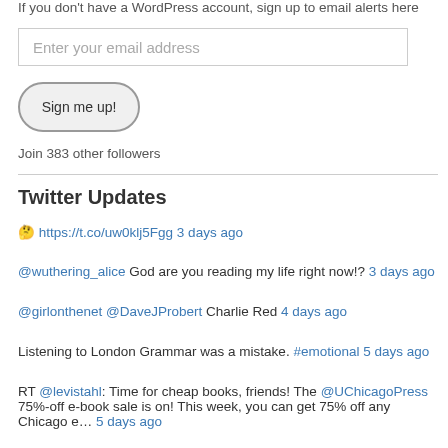If you don't have a WordPress account, sign up to email alerts here
[Figure (other): Email input field with placeholder text 'Enter your email address']
[Figure (other): Sign me up! button with rounded rectangle border]
Join 383 other followers
Twitter Updates
🤔 https://t.co/uw0klj5Fgg 3 days ago
@wuthering_alice God are you reading my life right now!? 3 days ago
@girlonthenet @DaveJProbert Charlie Red 4 days ago
Listening to London Grammar was a mistake. #emotional 5 days ago
RT @levistahl: Time for cheap books, friends! The @UChicagoPress 75%-off e-book sale is on! This week, you can get 75% off any Chicago e… 5 days ago